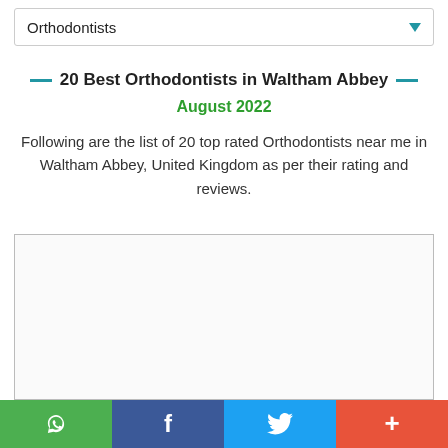Orthodontists
20 Best Orthodontists in Waltham Abbey
August 2022
Following are the list of 20 top rated Orthodontists near me in Waltham Abbey, United Kingdom as per their rating and reviews.
[Figure (other): Advertisement placeholder box with border]
WhatsApp | Facebook | Twitter | +